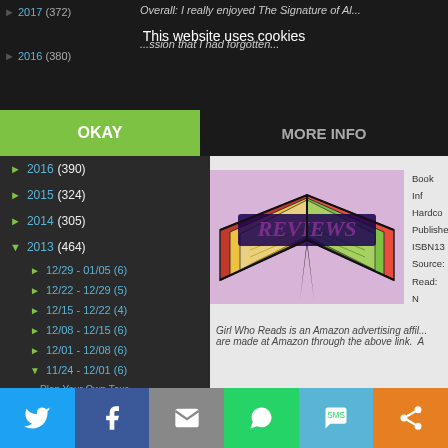This website uses cookies
OKAY
MORE INFO
► 2016 (390)
► 2015 (324)
► 2014 (305)
▼ 2013 (464)
► 12/29 - 01/05 (6)
► 12/22 - 12/29 (5)
► 12/15 - 12/22 (4)
► 12/08 - 12/15 (6)
► 12/01 - 12/08 (6)
▼ 11/24 - 12/01 (6)
Plan Your Own Tour for Just 99 Cents
Holiday Buying...
[Figure (illustration): REVIEWS logo: open book with colorful pages and 'REVIEWS' text in purple on the pages, pink/purple background]
Book Inf
Hardco
Publishe
ISBN13
Source:
Read: N
Girl Who Reads is an Amazon advertising affil... are made at Amazon through the above link. A
Twitter | Facebook | Email | WhatsApp | SMS | Other